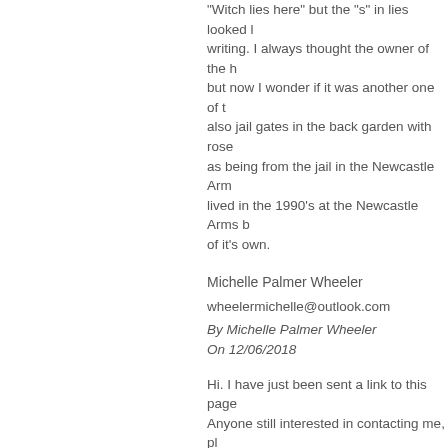"Witch lies here" but the "s" in lies looked like writing. I always thought the owner of the h but now I wonder if it was another one of t also jail gates in the back garden with rose as being from the jail in the Newcastle Arm lived in the 1990's at the Newcastle Arms of it's own.
Michelle Palmer Wheeler
wheelermichelle@outlook.com
By Michelle Palmer Wheeler
On 12/06/2018
Hi. I have just been sent a link to this page Anyone still interested in contacting me, pl
Regards Graham
By Graham Watts
On 14/05/2018
Could the person who currently owns this